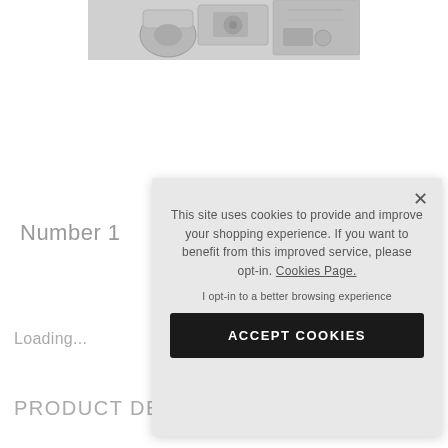[Figure (photo): Partial product photo showing mechanical/optical equipment in grayscale, cropped at top of page]
Number 1
Loading...
PRODUCT DE...
This site uses cookies to provide and improve your shopping experience. If you want to benefit from this improved service, please opt-in. Cookies Page.
I opt-in to a better browsing experience
ACCEPT COOKIES